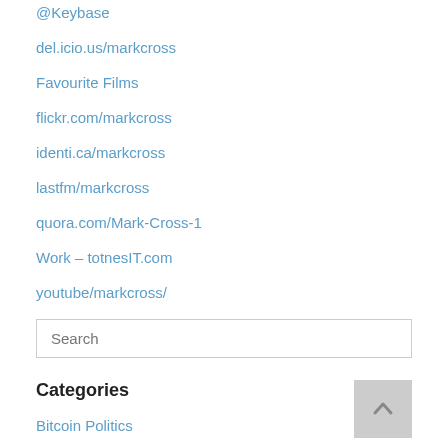@Keybase
del.icio.us/markcross
Favourite Films
flickr.com/markcross
identi.ca/markcross
lastfm/markcross
quora.com/Mark-Cross-1
Work – totnesIT.com
youtube/markcross/
Search
Categories
Bitcoin Politics
bitcoin technology